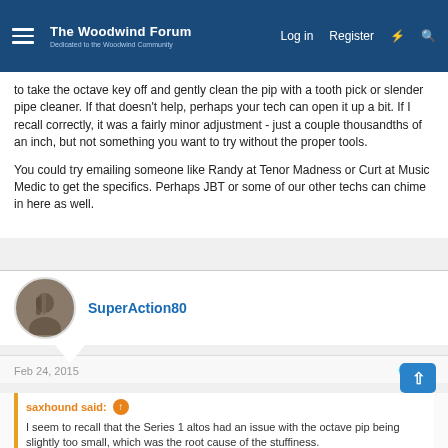The Woodwind Forum — Dedicated to the Woodwind Community | Log in | Register
to take the octave key off and gently clean the pip with a tooth pick or slender pipe cleaner. If that doesn't help, perhaps your tech can open it up a bit. If I recall correctly, it was a fairly minor adjustment - just a couple thousandths of an inch, but not something you want to try without the proper tools.
You could try emailing someone like Randy at Tenor Madness or Curt at Music Medic to get the specifics. Perhaps JBT or some of our other techs can chime in here as well.
SuperAction80
Feb 24, 2015 #7
saxhound said: ↑
I seem to recall that the Series 1 altos had an issue with the octave pip being slightly too small, which was the root cause of the stuffiness.